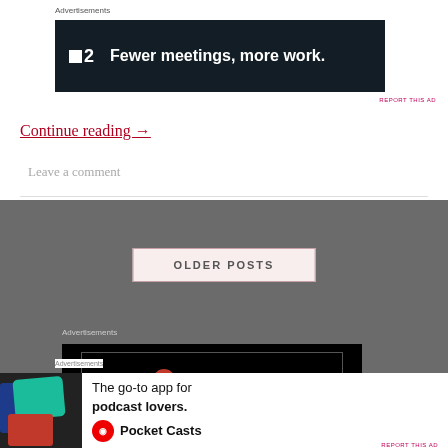Advertisements
[Figure (screenshot): Dark banner ad for a product with logo showing a square icon and the number 2, with text 'Fewer meetings, more work.' on a dark navy background]
REPORT THIS AD
Continue reading →
Leave a comment
OLDER POSTS
Advertisements
[Figure (screenshot): Longreads advertisement banner showing logo with red circle containing letter L and 'LONGREADS' text on black background with inner border]
Advertisements
[Figure (screenshot): Pocket Casts advertisement: 'The go-to app for podcast lovers.' with colorful app icon and Pocket Casts logo on white background]
REPORT THIS AD